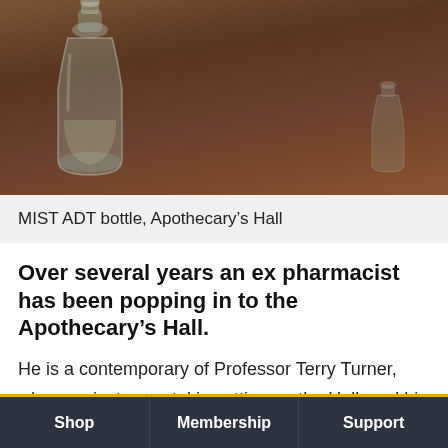[Figure (photo): A photograph of a glass apothecary bottle/decanter on a dark wooden shelf background at Apothecary's Hall]
MIST ADT bottle, Apothecary’s Hall
Over several years an ex pharmacist has been popping in to the Apothecary’s Hall.
He is a contemporary of Professor Terry Turner, who was instrumental in setting up the Hall, and his name is Morton. ( I remember his name, because I am a great fan of Last of the Summer Wine, in which Herman
Shop   Membership   Support